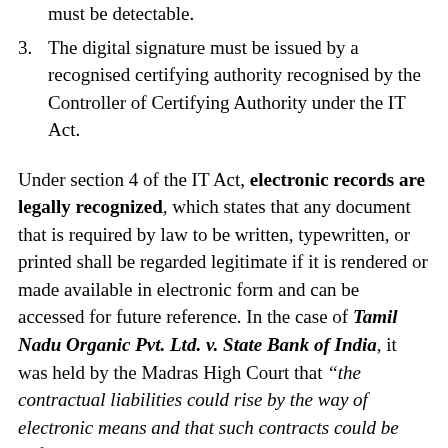must be detectable.
3. The digital signature must be issued by a recognised certifying authority recognised by the Controller of Certifying Authority under the IT Act.
Under section 4 of the IT Act, electronic records are legally recognized, which states that any document that is required by law to be written, typewritten, or printed shall be regarded legitimate if it is rendered or made available in electronic form and can be accessed for future reference. In the case of Tamil Nadu Organic Pvt. Ltd. v. State Bank of India, it was held by the Madras High Court that “the contractual liabilities could rise by the way of electronic means and that such contracts could be enforced through law. Moreover, the court also